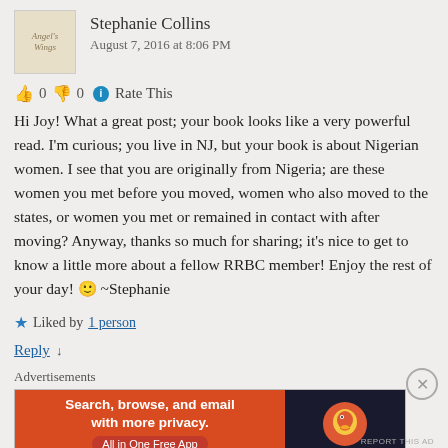[Figure (illustration): Book cover thumbnail for Angel's Wings]
Stephanie Collins
August 7, 2016 at 8:06 PM
👍 0 👎 0 ℹ Rate This
Hi Joy! What a great post; your book looks like a very powerful read. I'm curious; you live in NJ, but your book is about Nigerian women. I see that you are originally from Nigeria; are these women you met before you moved, women who also moved to the states, or women you met or remained in contact with after moving? Anyway, thanks so much for sharing; it's nice to get to know a little more about a fellow RRBC member! Enjoy the rest of your day! 🙂 ~Stephanie
★ Liked by 1 person
Reply ↓
Advertisements
[Figure (screenshot): DuckDuckGo advertisement banner: Search, browse, and email with more privacy. All in One Free App]